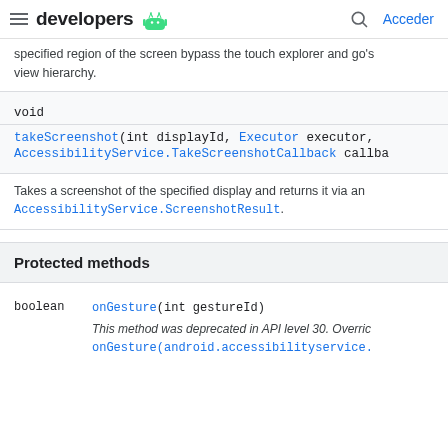developers [android logo] Acceder
specified region of the screen bypass the touch explorer and go to view hierarchy.
void
takeScreenshot(int displayId, Executor executor, AccessibilityService.TakeScreenshotCallback callba
Takes a screenshot of the specified display and returns it via an AccessibilityService.ScreenshotResult.
Protected methods
boolean
onGesture(int gestureId)
This method was deprecated in API level 30. Override onGesture(android.accessibilityservice.